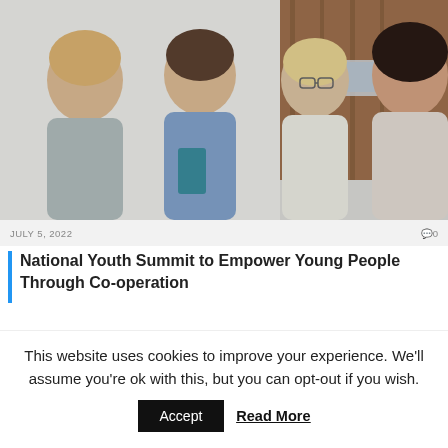[Figure (photo): Four young people gathered together looking at a phone, smiling and laughing. Indoor setting with white brick wall and wood paneling background.]
JULY 5, 2022   0
National Youth Summit to Empower Young People Through Co-operation
Comments are closed.
This website uses cookies to improve your experience. We'll assume you're ok with this, but you can opt-out if you wish.
Accept   Read More